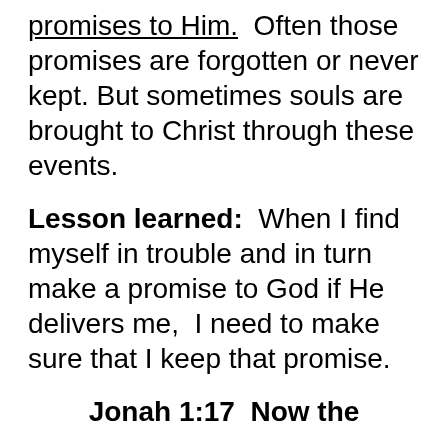promises to Him.  Often those promises are forgotten or never kept.  But sometimes souls are brought to Christ through these events.
Lesson learned:  When I find myself in trouble and in turn make a promise to God if He delivers me,  I need to make sure that I keep that promise.
Jonah 1:17  Now the